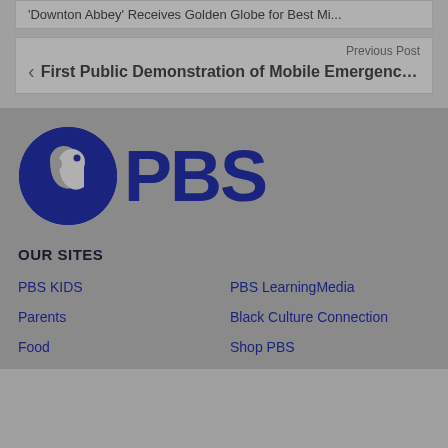'Downton Abbey' Receives Golden Globe for Best Mi...
Previous Post
First Public Demonstration of Mobile Emergency Aler...
[Figure (logo): PBS logo with blue circle containing human head silhouette and PBS text]
OUR SITES
PBS KIDS
PBS LearningMedia
Parents
Black Culture Connection
Food
Shop PBS